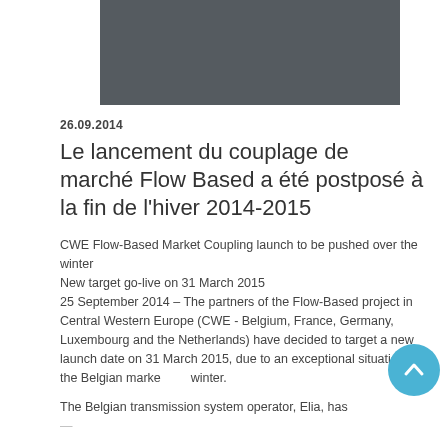[Figure (photo): Dark gray rectangular image block at top center of the page]
26.09.2014
Le lancement du couplage de marché Flow Based a été postposé à la fin de l'hiver 2014-2015
CWE Flow-Based Market Coupling launch to be pushed over the winter
New target go-live on 31 March 2015
25 September 2014 – The partners of the Flow-Based project in Central Western Europe (CWE - Belgium, France, Germany, Luxembourg and the Netherlands) have decided to target a new launch date on 31 March 2015, due to an exceptional situation on the Belgian market this winter.
The Belgian transmission system operator, Elia, has informed that there are concerns over system security...